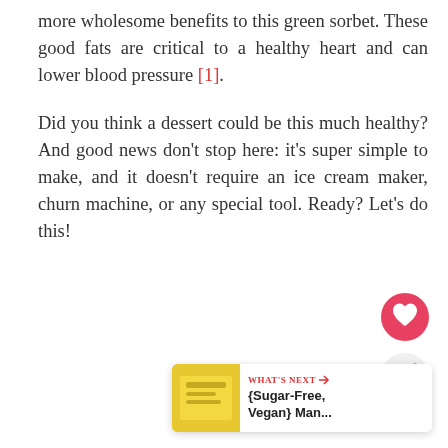more wholesome benefits to this green sorbet. These good fats are critical to a healthy heart and can lower blood pressure [1].
Did you think a dessert could be this much healthy? And good news don't stop here: it's super simple to make, and it doesn't require an ice cream maker, churn machine, or any special tool. Ready? Let's do this!
[Figure (other): Heart/like button (pink circle with heart icon) and share button (grey circle with share icon)]
[Figure (other): What's Next card showing a yellow food item thumbnail with label 'WHAT'S NEXT' and text '{Sugar-Free, Vegan} Man...']